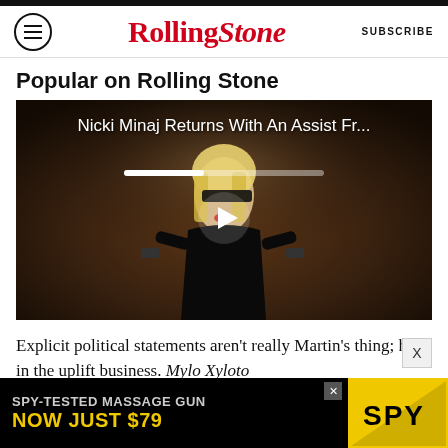RollingStone — SUBSCRIBE
Popular on Rolling Stone
[Figure (screenshot): Video thumbnail showing Nicki Minaj in a dark scene holding objects, with play button overlay. Title reads: Nicki Minaj Returns With An Assist Fr...]
Explicit political statements aren't really Martin's thing; he's in the uplift business. Mylo Xyloto suggests he's fully embraced his role as a not
[Figure (other): Advertisement banner: SPY-TESTED MASSAGE GUN NOW JUST $79 with SPY logo on yellow background]